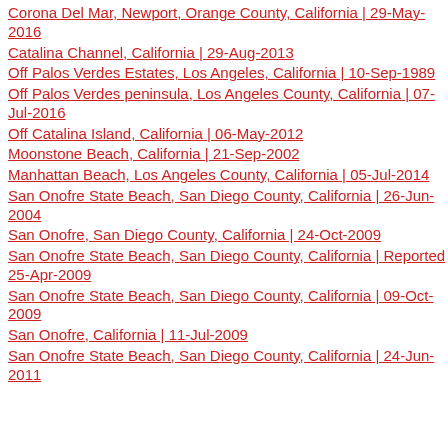Corona Del Mar, Newport, Orange County, California | 29-May-2016
Catalina Channel, California | 29-Aug-2013
Off Palos Verdes Estates, Los Angeles, California | 10-Sep-1989
Off Palos Verdes peninsula, Los Angeles County, California | 07-Jul-2016
Off Catalina Island, California | 06-May-2012
Moonstone Beach, California | 21-Sep-2002
Manhattan Beach, Los Angeles County, California | 05-Jul-2014
San Onofre State Beach, San Diego County, California | 26-Jun-2004
San Onofre, San Diego County, California | 24-Oct-2009
San Onofre State Beach, San Diego County, California | Reported 25-Apr-2009
San Onofre State Beach, San Diego County, California | 09-Oct-2009
San Onofre, California | 11-Jul-2009
San Onofre State Beach, San Diego County, California | 24-Jun-2011